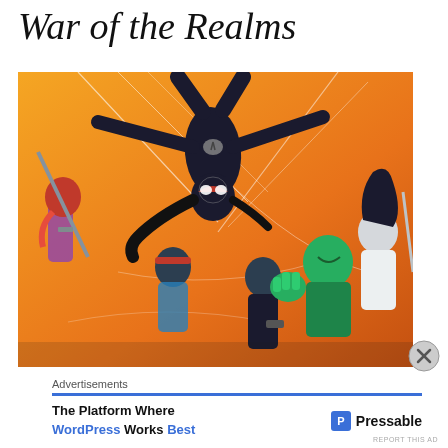War of the Realms
[Figure (illustration): Comic book cover art showing superhero characters on an orange background. Center figure (Spider-person) is shown diving/falling upside down in a black suit with a spider emblem. Other characters include a sword-wielding hero on the left, a female figure with red headband, a male figure in dark clothing, a green-skinned character (Hulk-like), and a female figure on the far right.]
Advertisements
The Platform Where WordPress Works Best
Pressable